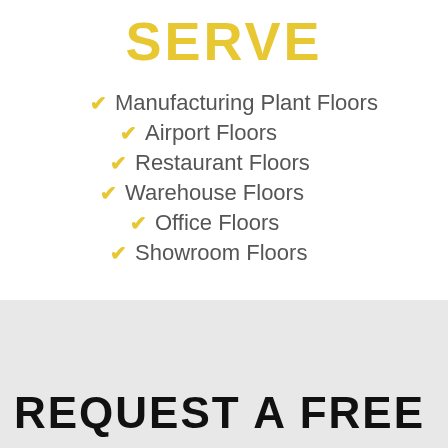SERVE
Manufacturing Plant Floors
Airport Floors
Restaurant Floors
Warehouse Floors
Office Floors
Showroom Floors
REQUEST A FREE